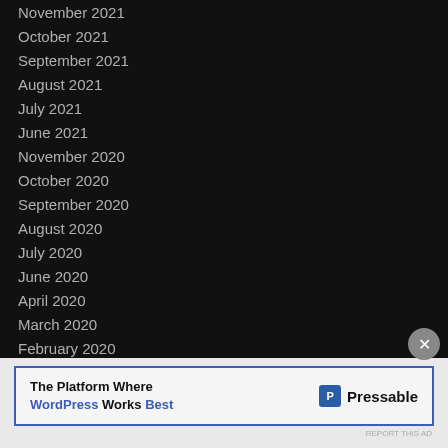November 2021
October 2021
September 2021
August 2021
July 2021
June 2021
November 2020
October 2020
September 2020
August 2020
July 2020
June 2020
April 2020
March 2020
February 2020
January 2020 (partially visible)
[Figure (other): Advertisement banner: The Platform Where WordPress Works Best - Pressable]